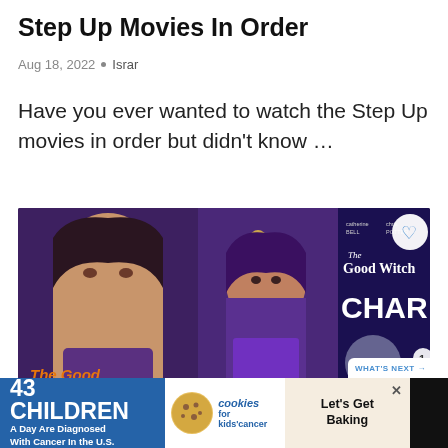Step Up Movies In Order
Aug 18, 2022  •  Israr
Have you ever wanted to watch the Step Up movies in order but didn't know …
[Figure (photo): A collage of movie posters featuring 'The Good Witch's Destiny' and 'The Good Witch: Charm', showing the actress in multiple poses. A 'What's Next' bubble overlay shows '24: Live Another Day...']
[Figure (infographic): Advertisement banner: '43 Children A Day Are Diagnosed With Cancer In the U.S.' with cookies for kids' cancer logo and 'Let's Get Baking' CTA]